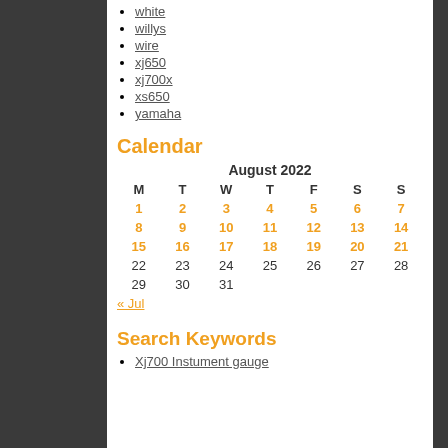white
willys
wire
xj650
xj700x
xs650
yamaha
Calendar
| M | T | W | T | F | S | S |
| --- | --- | --- | --- | --- | --- | --- |
| 1 | 2 | 3 | 4 | 5 | 6 | 7 |
| 8 | 9 | 10 | 11 | 12 | 13 | 14 |
| 15 | 16 | 17 | 18 | 19 | 20 | 21 |
| 22 | 23 | 24 | 25 | 26 | 27 | 28 |
| 29 | 30 | 31 |  |  |  |  |
« Jul
Search Keywords
Xj700 Instument gauge